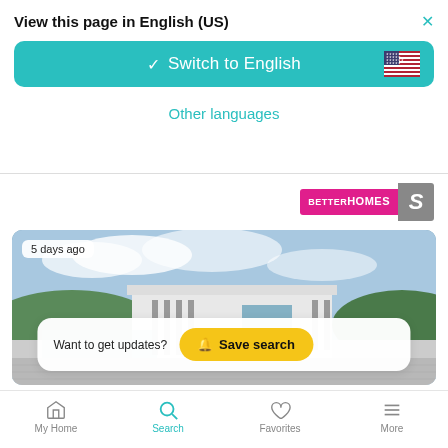View this page in English (US)
Switch to English
Other languages
[Figure (screenshot): Better Homes and Gardens real estate logo with pink and gray color scheme]
[Figure (photo): Modern white flat-roof house with glass door, terrace, and mountain/landscape background. Badge shows 5 days ago. Overlay shows 'Want to get updates? Save search' button.]
5 days ago
Want to get updates?
Save search
My Home  Search  Favorites  More